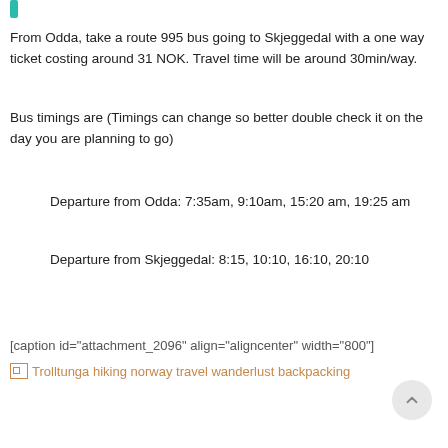From Odda, take a route 995 bus going to Skjeggedal with a one way ticket costing around 31 NOK. Travel time will be around 30min/way.
Bus timings are (Timings can change so better double check it on the day you are planning to go)
Departure from Odda: 7:35am, 9:10am, 15:20 am, 19:25 am
Departure from Skjeggedal: 8:15, 10:10, 16:10, 20:10
[caption id="attachment_2096" align="aligncenter" width="800"]
[Figure (photo): Broken image placeholder: Trolltunga hiking norway travel wanderlust backpacking]